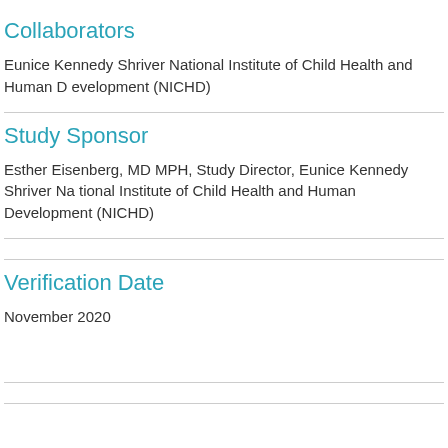Collaborators
Eunice Kennedy Shriver National Institute of Child Health and Human Development (NICHD)
Study Sponsor
Esther Eisenberg, MD MPH, Study Director, Eunice Kennedy Shriver National Institute of Child Health and Human Development (NICHD)
Verification Date
November 2020